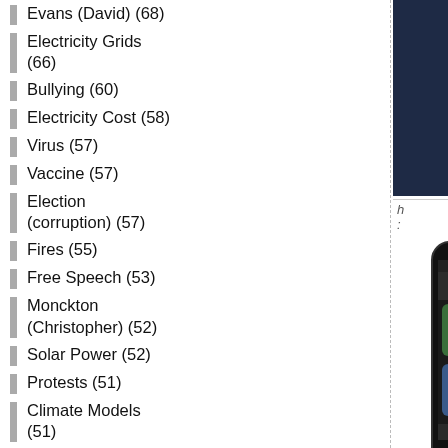Evans (David) (68)
Electricity Grids (66)
Bullying (60)
Electricity Cost (58)
Virus (57)
Vaccine (57)
Election (corruption) (57)
Fires (55)
Free Speech (53)
Monckton (Christopher) (52)
Solar Power (52)
Protests (51)
Climate Models (51)
Europe (50)
SA (South Australia) (49)
Big-Government (47)
[Figure (photo): Skeptic branded shirt and tote bag merchandise on dark blue background]
h :
[Figure (photo): iPhone displaying 'Our Climate - The Global Climate Portal' app with four tiles]
a
n
[Figure (other): CLIMATEGATE: blue banner heading]